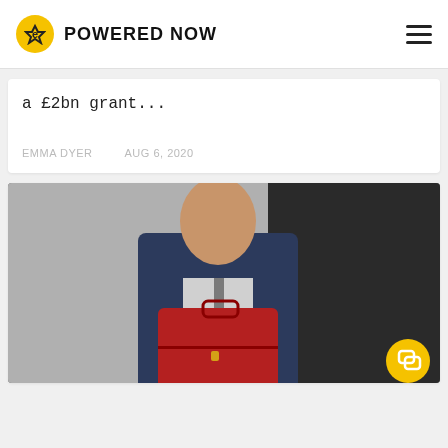POWERED NOW
a £2bn grant...
EMMA DYER   AUG 6, 2020
[Figure (photo): Man in suit smiling and holding a red briefcase/dispatch box, standing in front of a black door. A yellow chat bubble icon is overlaid in the bottom right corner.]